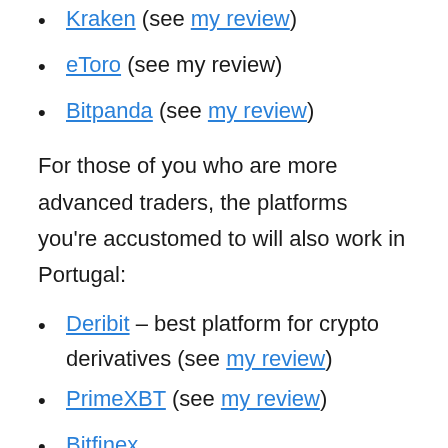Kraken (see my review)
eToro (see my review)
Bitpanda (see my review)
For those of you who are more advanced traders, the platforms you're accustomed to will also work in Portugal:
Deribit – best platform for crypto derivatives (see my review)
PrimeXBT (see my review)
Bitfinex